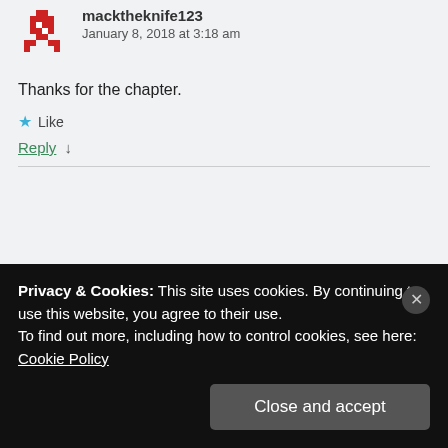[Figure (illustration): Red pixel-art avatar icon for user macktheknife123]
macktheknife123
January 8, 2018 at 3:18 am
Thanks for the chapter.
★ Like
Reply ↓
[Figure (illustration): Green pixel-art avatar icon for user blueberry]
blueberry
January 8, 2018 at 2:47 pm
Privacy & Cookies: This site uses cookies. By continuing to use this website, you agree to their use.
To find out more, including how to control cookies, see here: Cookie Policy
Close and accept